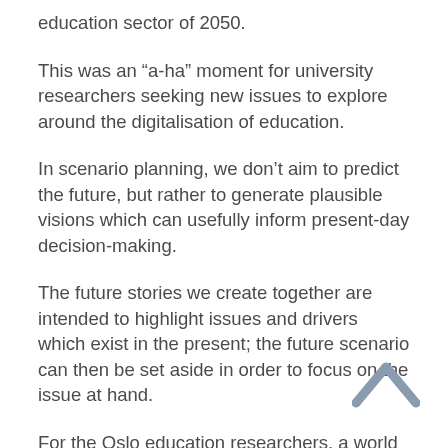education sector of 2050.
This was an “a-ha” moment for university researchers seeking new issues to explore around the digitalisation of education.
In scenario planning, we don’t aim to predict the future, but rather to generate plausible visions which can usefully inform present-day decision-making.
The future stories we create together are intended to highlight issues and drivers which exist in the present; the future scenario can then be set aside in order to focus on the issue at hand.
For the Oslo education researchers, a world in which parents and institutions warred over